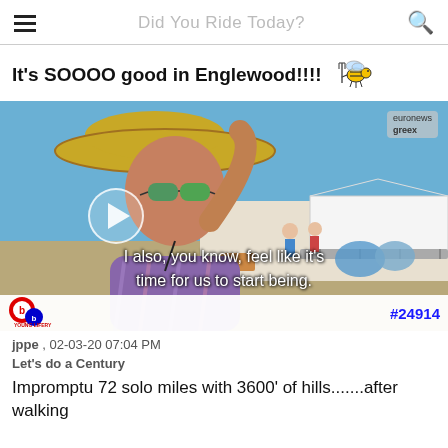Did You Ride Today?
It's SOOOO good in Englewood!!!!
[Figure (photo): Video thumbnail showing a woman wearing a wide-brimmed straw hat and sunglasses at an outdoor festival/camping event on a sunny day. A play button overlay is shown. Subtitles read: 'I also, you know, feel like it's time for us to start being.' A watermark reads 'euronews greex'. Post number #24914 shown at bottom right. A logo appears at bottom left.]
jppe , 02-03-20 07:04 PM
Let's do a Century
Impromptu 72 solo miles with 3600' of hills.......after walking